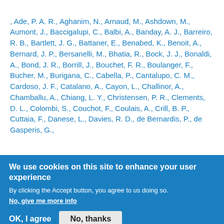, Ade, P. A. R., Aghanim, N., Arnaud, M., Ashdown, M., Aumont, J., Baccigalupi, C., Balbi, A., Banday, A. J., Barreiro, R. B., Bartlett, J. G., Battaner, E., Benabed, K., Benoit, A., Bernard, J. P., Bersanelli, M., Bhatia, R., Bock, J. J., Bonaldi, A., Bond, J. R., Borrill, J., Bouchet, F. R., Boulanger, F., Bucher, M., Burigana, C., Cabella, P., Cantalupo, C. M., Cardoso, J. F., Catalano, A., Cayon, L., Challinor, A., Chamballu, A., Chiang, L. Y., Christensen, P. R., Clements, D. L., Colombi, S., Couchot, F., Coulais, A., Crill, B. P., Cuttaia, F., Danese, L., Davies, R. D., de Bernardis, P., de Gasperis, G.,
We use cookies on this site to enhance your user experience
By clicking the Accept button, you agree to us doing so.
No, give me more info
OK, I agree
No, thanks